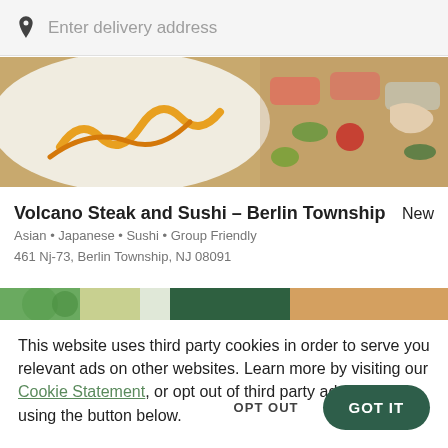Enter delivery address
[Figure (photo): Food photo showing sushi and sashimi plating on white plate with sauces, colorful garnishes including wasabi, tomato, and greens]
Volcano Steak and Sushi – Berlin Township
New
Asian • Japanese • Sushi • Group Friendly
461 Nj-73, Berlin Township, NJ 08091
[Figure (screenshot): Partial banner image strip with green and other color sections]
This website uses third party cookies in order to serve you relevant ads on other websites. Learn more by visiting our Cookie Statement, or opt out of third party ad cookies using the button below.